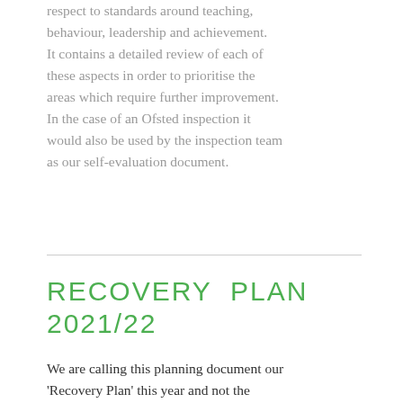respect to standards around teaching, behaviour, leadership and achievement. It contains a detailed review of each of these aspects in order to prioritise the areas which require further improvement. In the case of an Ofsted inspection it would also be used by the inspection team as our self-evaluation document.
RECOVERY PLAN 2021/22
We are calling this planning document our 'Recovery Plan' this year and not the